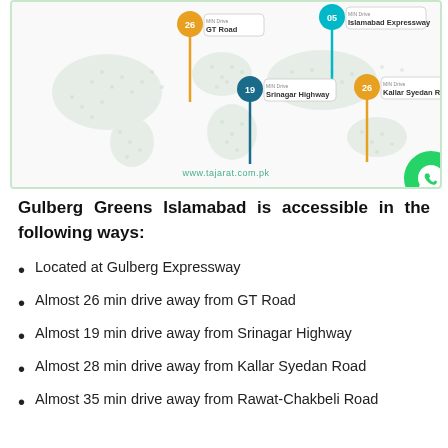[Figure (infographic): Map infographic showing Gulberg Greens Islamabad location pins for GT Road (26 min), Islamabad Expressway (05 min), Srinagar Highway (19 min), Kallar Syedan Road (28 min), with website www.tajarat.com.pk. WhatsApp button at bottom right.]
Gulberg Greens Islamabad is accessible in the following ways:
Located at Gulberg Expressway
Almost 26 min drive away from GT Road
Almost 19 min drive away from Srinagar Highway
Almost 28 min drive away from Kallar Syedan Road
Almost 35 min drive away from Rawat-Chakbeli Road